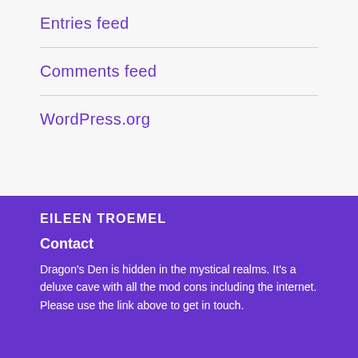Entries feed
Comments feed
WordPress.org
EILEEN TROEMEL
Contact
Dragon's Den is hidden in the mystical realms.  It's a deluxe cave with all the mod cons including the internet.  Please use the link above to get in touch.